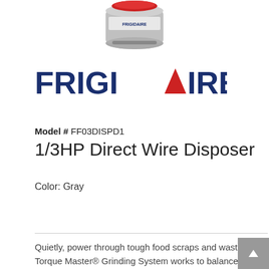[Figure (photo): Partially visible top portion of a Frigidaire garbage disposal unit, gray cylindrical appliance with red accent, shown from above against white background]
[Figure (logo): Frigidaire logo in dark navy blue bold uppercase letters with a red triangle accent replacing the letter A]
Model # FF03DISPD1
1/3HP Direct Wire Disposer
Color: Gray
Quietly, power through tough food scraps and waste with Frigidaire 1/3 HP Direct Wire Food Waste Disposer. Our tough, stainless steel Torque Master® Grinding System works to balance the speed and